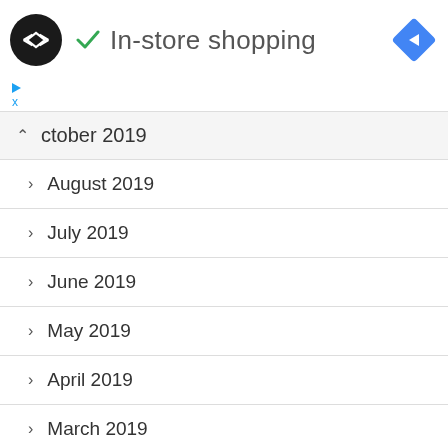[Figure (logo): Black circle logo with double arrow/infinity symbol inside, white arrows pointing left and right]
In-store shopping
[Figure (other): Blue diamond navigation/directions icon with white right-pointing arrow]
▶ (ad play button)
X (close ad)
^ ctober 2019
> August 2019
> July 2019
> June 2019
> May 2019
> April 2019
> March 2019
> February 2019
> January 2019